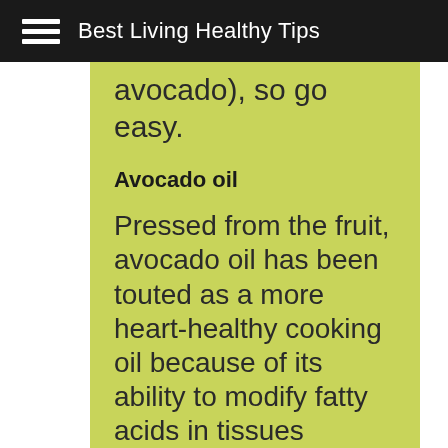Best Living Healthy Tips
avocado), so go easy.
Avocado oil
Pressed from the fruit, avocado oil has been touted as a more heart-healthy cooking oil because of its ability to modify fatty acids in tissues around the